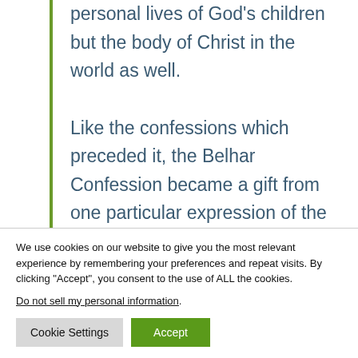personal lives of God's children but the body of Christ in the world as well.
Like the confessions which preceded it, the Belhar Confession became a gift from one particular expression of the church to Christians in other
We use cookies on our website to give you the most relevant experience by remembering your preferences and repeat visits. By clicking "Accept", you consent to the use of ALL the cookies.
Do not sell my personal information.